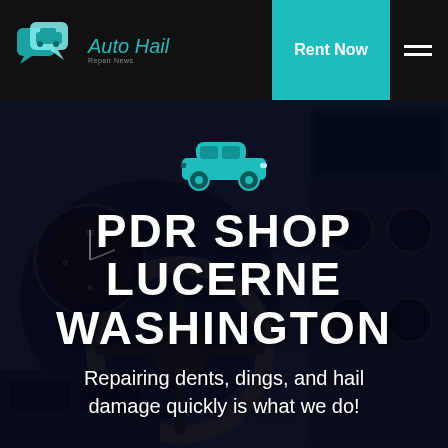[Figure (logo): Auto Hail Repair News logo with teal speech bubble and car icons, teal italic text 'Auto Hail' with subtitle 'Repair News']
Rent Now
[Figure (photo): Dark background photo of a car interior showing steering wheel, dashboard instruments, and control panels]
[Figure (illustration): Teal car icon silhouette]
PDR SHOP LUCERNE WASHINGTON
Repairing dents, dings, and hail damage quickly is what we do!